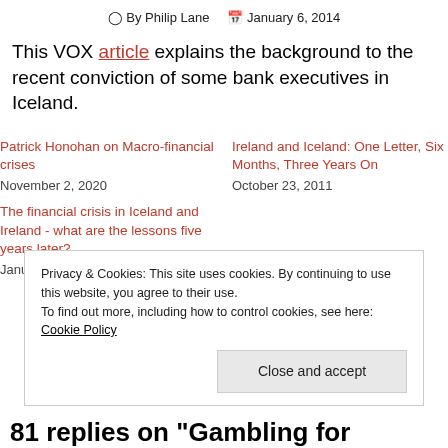By Philip Lane   January 6, 2014
This VOX article explains the background to the recent conviction of some bank executives in Iceland.
Patrick Honohan on Macro-financial crises
November 2, 2020
Ireland and Iceland: One Letter, Six Months, Three Years On
October 23, 2011
The financial crisis in Iceland and Ireland - what are the lessons five years later?
January 27, 2014
Privacy & Cookies: This site uses cookies. By continuing to use this website, you agree to their use.
To find out more, including how to control cookies, see here: Cookie Policy
81 replies on “Gambling for